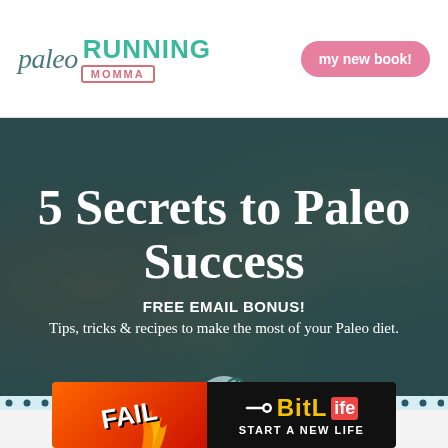paleo RUNNING MOMMA | my new book!
[Figure (photo): Hero banner with food background (salads, bowls) overlaid with dark teal semi-transparent overlay]
5 Secrets to Paleo Success
FREE EMAIL BONUS!
Tips, tricks & recipes to make the most of your Paleo diet.
[Figure (illustration): BitLife advertisement banner with FAIL text, cartoon character, fire, and START A NEW LIFE text]